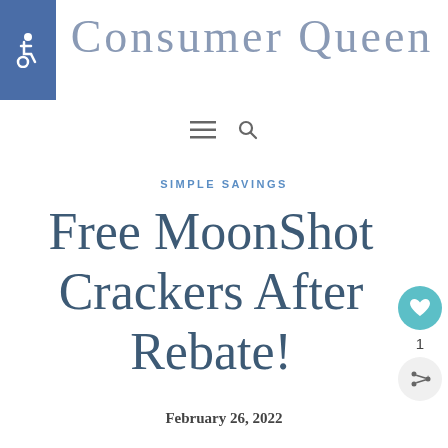[Figure (logo): Consumer Queen website logo in cursive/script font, blue-grey color]
[Figure (screenshot): Accessibility icon (wheelchair symbol) in white on blue square background, top left corner]
[Figure (infographic): Navigation icons: hamburger menu and search magnifier icon]
SIMPLE SAVINGS
Free MoonShot Crackers After Rebate!
February 26, 2022